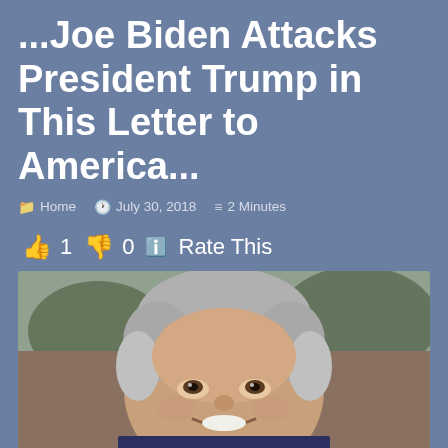...Joe Biden Attacks President Trump in This Letter to America...
Home  July 30, 2018  2 Minutes
👍 1 👎 0 ℹ Rate This
[Figure (photo): Portrait photo of Joe Biden, smiling, with grey hair, wearing a suit, with a blurred outdoor background.]